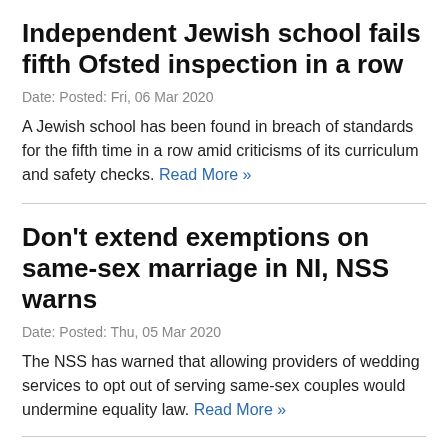Independent Jewish school fails fifth Ofsted inspection in a row
Date: Posted: Fri, 06 Mar 2020
A Jewish school has been found in breach of standards for the fifth time in a row amid criticisms of its curriculum and safety checks. Read More »
Don't extend exemptions on same-sex marriage in NI, NSS warns
Date: Posted: Thu, 05 Mar 2020
The NSS has warned that allowing providers of wedding services to opt out of serving same-sex couples would undermine equality law. Read More »